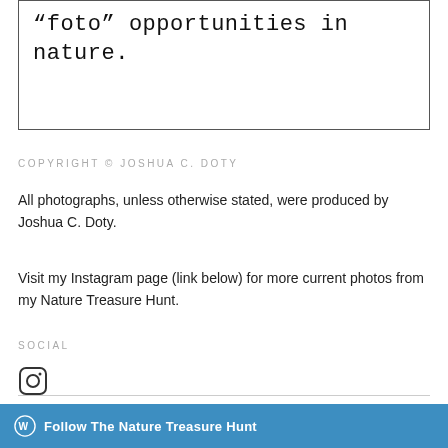“foto” opportunities in nature.
COPYRIGHT © JOSHUA C. DOTY
All photographs, unless otherwise stated, were produced by Joshua C. Doty.
Visit my Instagram page (link below) for more current photos from my Nature Treasure Hunt.
SOCIAL
[Figure (illustration): Instagram camera icon]
Follow The Nature Treasure Hunt